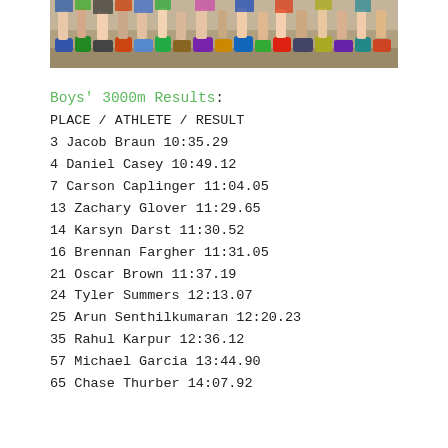[Figure (photo): Cropped team photo showing athletes' feet and shoes on sandy ground, viewed from below knees down]
Boys' 3000m Results:
PLACE / ATHLETE / RESULT
3 Jacob Braun 10:35.29
4 Daniel Casey 10:49.12
7 Carson Caplinger 11:04.05
13 Zachary Glover 11:29.65
14 Karsyn Darst 11:30.52
16 Brennan Fargher 11:31.05
21 Oscar Brown 11:37.19
24 Tyler Summers 12:13.07
25 Arun Senthilkumaran 12:20.23
35 Rahul Karpur 12:36.12
57 Michael Garcia 13:44.90
65 Chase Thurber 14:07.92